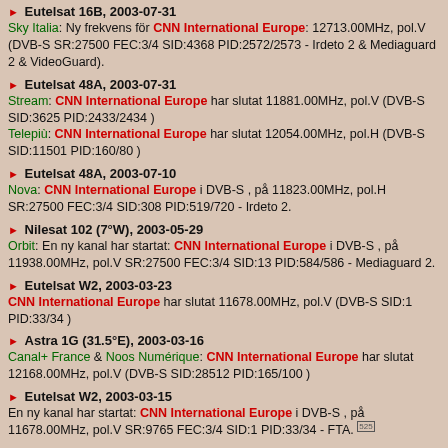Eutelsat 16B, 2003-07-31
Sky Italia: Ny frekvens för CNN International Europe: 12713.00MHz, pol.V (DVB-S SR:27500 FEC:3/4 SID:4368 PID:2572/2573 - Irdeto 2 & Mediaguard 2 & VideoGuard).
Eutelsat 48A, 2003-07-31
Stream: CNN International Europe har slutat 11881.00MHz, pol.V (DVB-S SID:3625 PID:2433/2434 )
Telepiù: CNN International Europe har slutat 12054.00MHz, pol.H (DVB-S SID:11501 PID:160/80 )
Eutelsat 48A, 2003-07-10
Nova: CNN International Europe i DVB-S , på 11823.00MHz, pol.H SR:27500 FEC:3/4 SID:308 PID:519/720 - Irdeto 2.
Nilesat 102 (7°W), 2003-05-29
Orbit: En ny kanal har startat: CNN International Europe i DVB-S , på 11938.00MHz, pol.V SR:27500 FEC:3/4 SID:13 PID:584/586 - Mediaguard 2.
Eutelsat W2, 2003-03-23
CNN International Europe har slutat 11678.00MHz, pol.V (DVB-S SID:1 PID:33/34 )
Astra 1G (31.5°E), 2003-03-16
Canal+ France & Noos Numérique: CNN International Europe har slutat 12168.00MHz, pol.V (DVB-S SID:28512 PID:165/100 )
Eutelsat W2, 2003-03-15
En ny kanal har startat: CNN International Europe i DVB-S , på 11678.00MHz, pol.V SR:9765 FEC:3/4 SID:1 PID:33/34 - FTA. [525]
Eutelsat 48A, 2003-03-07
--: CNN International Europe har slutat 11823.00MHz, pol.H (DVB-S SID:308 PID:519/720 )